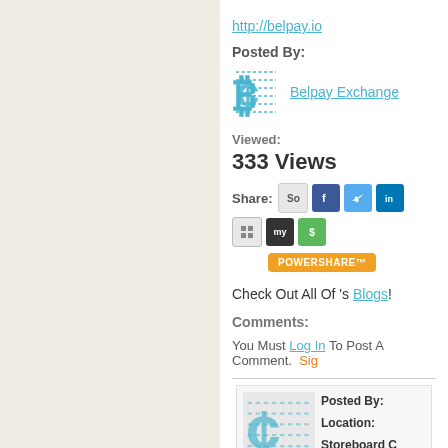http://belpay.io
Posted By:
Belpay Exchange
Viewed:
333 Views
Share:
POWERSHARE™
Check Out All Of 's Blogs!
Comments:
You Must Log In To Post A Comment. Sign
Posted By:
Location:
Storeboard C